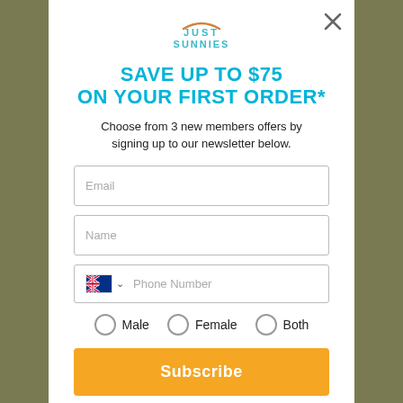[Figure (logo): Just Sunnies logo with teal text and orange accent arc]
SAVE UP TO $75 ON YOUR FIRST ORDER*
Choose from 3 new members offers by signing up to our newsletter below.
Email (input field)
Name (input field)
Phone Number (input field with Australian flag and dropdown)
Male  Female  Both (radio buttons)
Subscribe (button)
*T&Cs apply, view full details here.